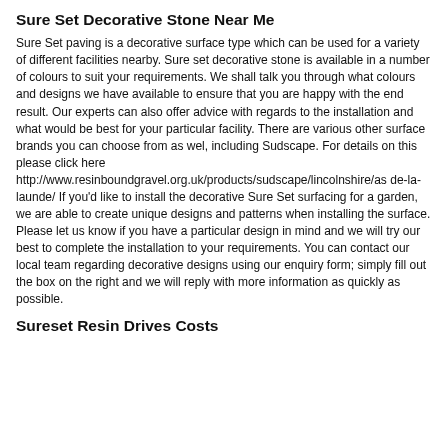Sure Set Decorative Stone Near Me
Sure Set paving is a decorative surface type which can be used for a variety of different facilities nearby. Sure set decorative stone is available in a number of colours to suit your requirements. We shall talk you through what colours and designs we have available to ensure that you are happy with the end result. Our experts can also offer advice with regards to the installation and what would be best for your particular facility. There are various other surface brands you can choose from as wel, including Sudscape. For details on this please click here http://www.resinboundgravel.org.uk/products/sudscape/lincolnshire/as de-la-launde/ If you'd like to install the decorative Sure Set surfacing for a garden, we are able to create unique designs and patterns when installing the surface. Please let us know if you have a particular design in mind and we will try our best to complete the installation to your requirements. You can contact our local team regarding decorative designs using our enquiry form; simply fill out the box on the right and we will reply with more information as quickly as possible.
Sureset Resin Drives Costs